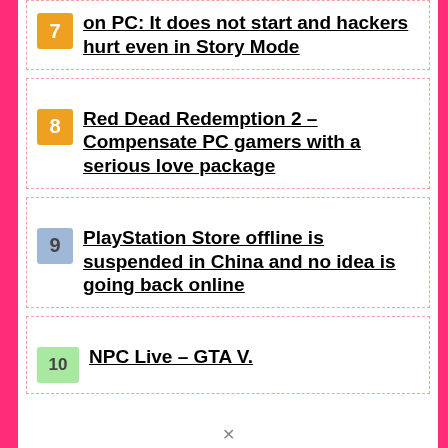7 on PC: It does not start and hackers hurt even in Story Mode
8 Red Dead Redemption 2 – Compensate PC gamers with a serious love package
9 PlayStation Store offline is suspended in China and no idea is going back online
10 NPC Live – GTA V.